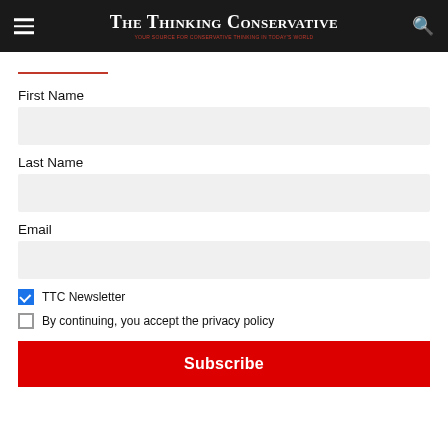The Thinking Conservative
First Name
Last Name
Email
TTC Newsletter
By continuing, you accept the privacy policy
Subscribe